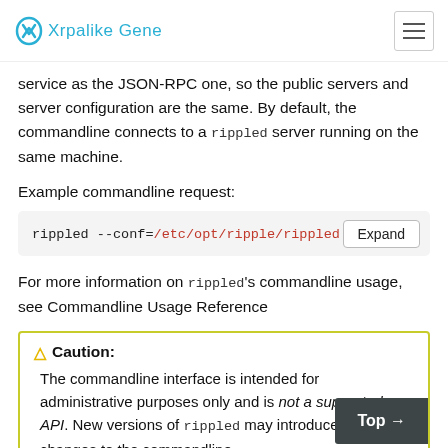Xrpalike Gene
service as the JSON-RPC one, so the public servers and server configuration are the same. By default, the commandline connects to a rippled server running on the same machine.
Example commandline request:
[Figure (screenshot): Code block showing: rippled --conf=/etc/opt/ripple/rippled.cfg serv... with an Expand button]
For more information on rippled's commandline usage, see Commandline Usage Reference
Caution: The commandline interface is intended for administrative purposes only and is not a supported API. New versions of rippled may introduce breaking changes to the commandline